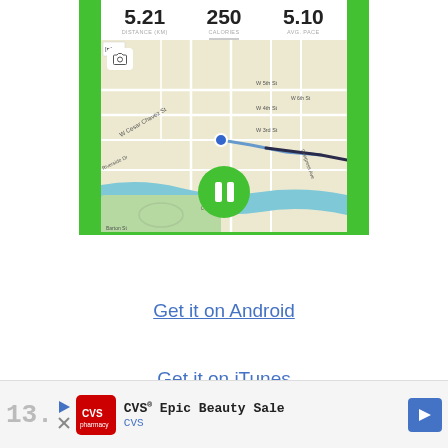[Figure (screenshot): Running app screenshot showing distance 5.21 km, 250 calories, avg pace 5.10, with a map of Austin TX area near Colorado River and a green pause button overlay. Green side borders visible.]
Get it on Android
Get it on iTunes
[Figure (infographic): CVS advertisement banner: CVS Epic Beauty Sale with CVS pharmacy logo and blue navigation arrow icon. Page number 13 partially visible.]